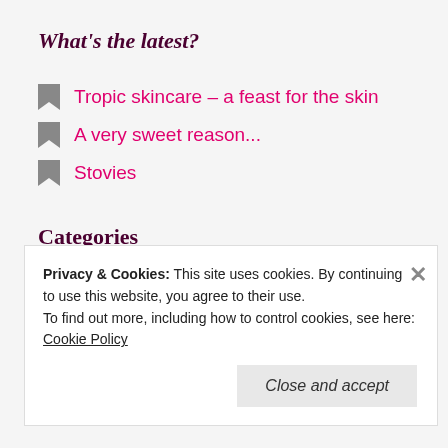What's the latest?
Tropic skincare – a feast for the skin
A very sweet reason...
Stovies
Categories
Vegan Food Recipes  (8)
Privacy & Cookies: This site uses cookies. By continuing to use this website, you agree to their use.
To find out more, including how to control cookies, see here: Cookie Policy
Close and accept